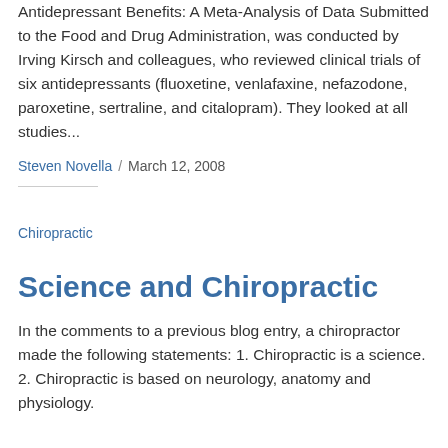Antidepressant Benefits: A Meta-Analysis of Data Submitted to the Food and Drug Administration, was conducted by Irving Kirsch and colleagues, who reviewed clinical trials of six antidepressants (fluoxetine, venlafaxine, nefazodone, paroxetine, sertraline, and citalopram). They looked at all studies...
Steven Novella / March 12, 2008
Chiropractic
Science and Chiropractic
In the comments to a previous blog entry, a chiropractor made the following statements: 1. Chiropractic is a science. 2. Chiropractic is based on neurology, anatomy and physiology.